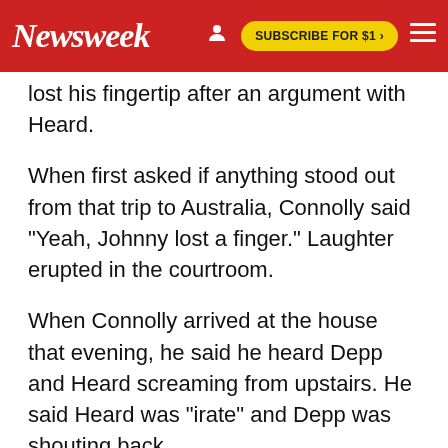Newsweek | SUBSCRIBE FOR $1 >
lost his fingertip after an argument with Heard.
When first asked if anything stood out from that trip to Australia, Connolly said "Yeah, Johnny lost a finger." Laughter erupted in the courtroom.
When Connolly arrived at the house that evening, he said he heard Depp and Heard screaming from upstairs. He said Heard was "irate" and Depp was shouting back.
Connolly said tried to get Depp out of the